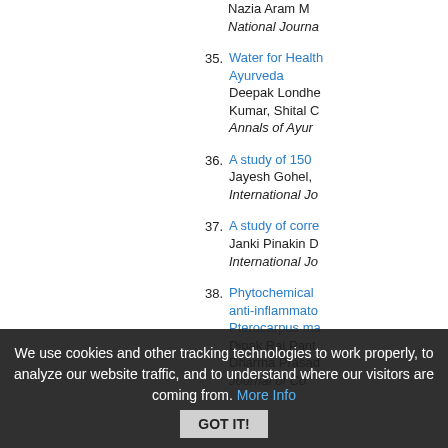Nazia Aram M
National Journa
35. Water for Health Ayurveda
Deepak Londhe Kumar, Shital C
Annals of Ayur
36. A study of 150
Jayesh Gohel,
International Jo
37. A study of corre
Janki Pinakin D
International Jo
38. Phytochemical anti-inflammato Pterocarpus ma
Dipak Raj Pant Dharma Prasad
Journal of Co
We use cookies and other tracking technologies to work properly, to analyze our website traffic, and to understand where our visitors are coming from. More Info | GOT IT!